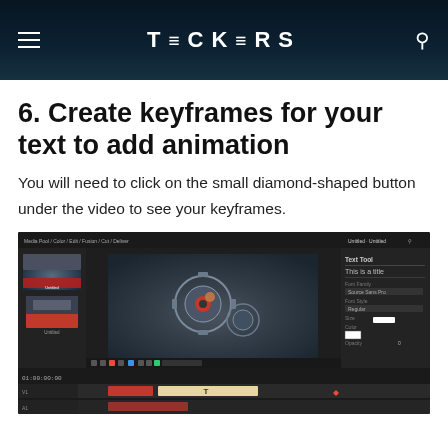TECKERS
6. Create keyframes for your text to add animation
You will need to click on the small diamond-shaped button under the video to see your keyframes.
[Figure (screenshot): Screenshot of a video editing software (appears to be DaVinci Resolve or similar) showing a clockwork/gear video in the preview window, with timeline panels, media thumbnails on the left, and text/title properties panel on the right.]